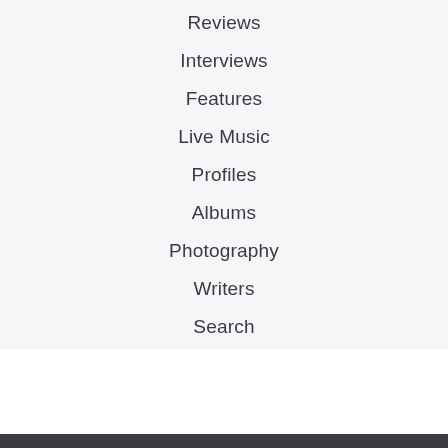Reviews
Interviews
Features
Live Music
Profiles
Albums
Photography
Writers
Search